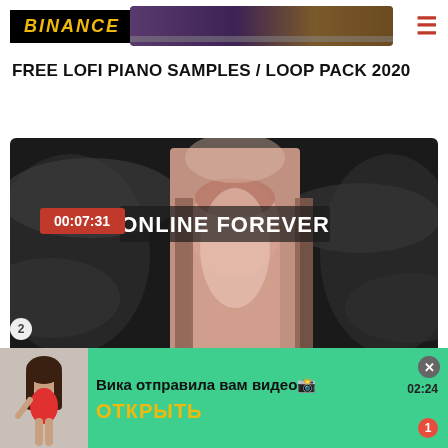BINANCE
[Figure (screenshot): Binance logo black background with yellow italic text, hamburger menu icon in red on right]
[Figure (photo): Narrow horizontal banner image at top right, appears to be a sample pack product image with purple/dark tones]
FREE LOFI PIANO SAMPLES / LOOP PACK 2020
[Figure (screenshot): Video thumbnail showing 'ONLINE FOREVER' text over a classical arch/gate image with mystical clouds. Timestamp 00:07:31 shown in red badge top left.]
[Figure (screenshot): Green notification bar at bottom: avatar of woman in red outfit, text 'Вика отправила вам видео' with 'ОТКРЫТЬ' button in yellow, close X button and badge showing 02:24 timestamp, red badge with number 1]